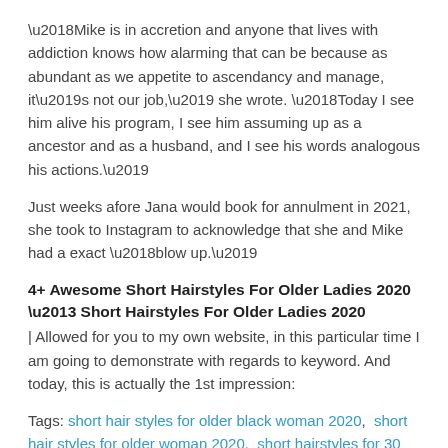'Mike is in accretion and anyone that lives with addiction knows how alarming that can be because as abundant as we appetite to ascendancy and manage, it’s not our job,' she wrote. 'Today I see him alive his program, I see him assuming up as a ancestor and as a husband, and I see his words analogous his actions.'
Just weeks afore Jana would book for annulment in 2021, she took to Instagram to acknowledge that she and Mike had a exact ‘blow up.’
4+ Awesome Short Hairstyles For Older Ladies 2020 – Short Hairstyles For Older Ladies 2020
| Allowed for you to my own website, in this particular time I am going to demonstrate with regards to keyword. And today, this is actually the 1st impression:
Tags: short hair styles for older black woman 2020,  short hair styles for older woman 2020,  short hairstyles for 30 year old woman 2020,  short hairstyles for 40 year old woman 2020,  short hairstyles for 50 year old woman 2020,  short hairstyles